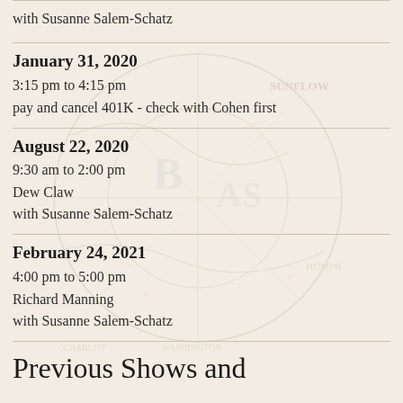with Susanne Salem-Schatz
January 31, 2020
3:15 pm to 4:15 pm
pay and cancel 401K - check with Cohen first
August 22, 2020
9:30 am to 2:00 pm
Dew Claw
with Susanne Salem-Schatz
February 24, 2021
4:00 pm to 5:00 pm
Richard Manning
with Susanne Salem-Schatz
Previous Shows and